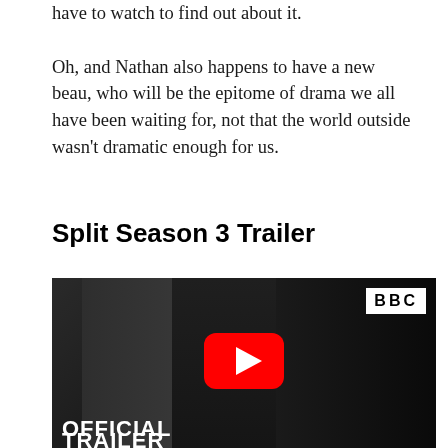have to watch to find out about it.
Oh, and Nathan also happens to have a new beau, who will be the epitome of drama we all have been waiting for, not that the world outside wasn't dramatic enough for us.
Split Season 3 Trailer
[Figure (screenshot): BBC YouTube video thumbnail showing three actors in a dramatic scene. The thumbnail shows a man reflected in glass on the left, a blonde woman in the center, and a dark-haired man in a suit on the right. The BBC logo is in the top right corner. A red YouTube play button is in the center. Text 'OFFICIAL TRAILER' appears at the bottom.]